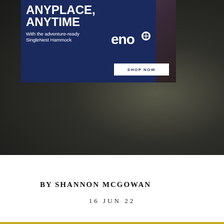[Figure (photo): Dark blurry outdoor/adventure background photo with an ENO hammock advertisement banner overlaid at top. The ad has a dark navy blue background with white bold text reading 'ANYPLACE, ANYTIME' and 'With the adventure-ready SingleNest Hammock', plus the ENO logo and a 'SHOP NOW' button. The background shows a blurry dark outdoor scene.]
BY SHANNON MCGOWAN
16 JUN 22